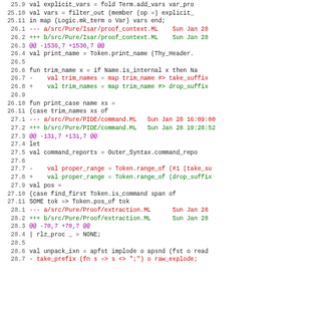Code diff showing ML source file changes in Isabelle/Pure, lines 25.9 through 28.7